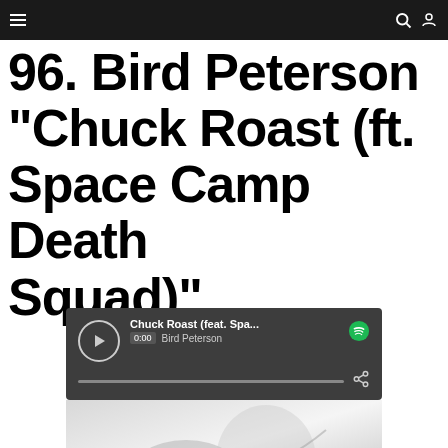Navigation bar with menu, search, and user icons
96. Bird Peterson “Chuck Roast (ft. Space Camp Death Squad)”
[Figure (screenshot): Spotify embedded music player showing 'Chuck Roast (feat. Spa...' by Bird Peterson with play button, 0:00 time badge, progress bar, share icon, and Spotify logo, followed by album artwork (black and white abstract image)]